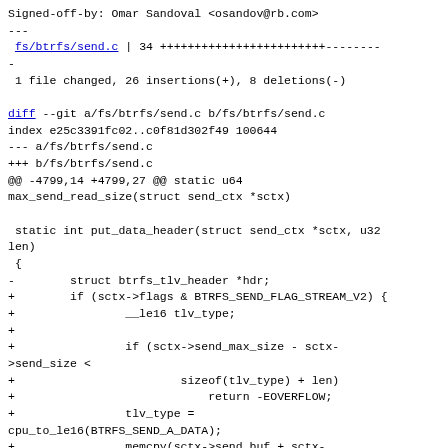Signed-off-by: Omar Sandoval <osandov@rb.com>
---
 fs/btrfs/send.c | 34 ++++++++++++++++++++++++--------
-
 1 file changed, 26 insertions(+), 8 deletions(-)

diff --git a/fs/btrfs/send.c b/fs/btrfs/send.c
index e25c3391fc02..c0f81d302f49 100644
--- a/fs/btrfs/send.c
+++ b/fs/btrfs/send.c
@@ -4799,14 +4799,27 @@ static u64
max_send_read_size(struct send_ctx *sctx)

 static int put_data_header(struct send_ctx *sctx, u32
len)
 {
-        struct btrfs_tlv_header *hdr;
+        if (sctx->flags & BTRFS_SEND_FLAG_STREAM_V2) {
+                __le16 tlv_type;
+
+                if (sctx->send_max_size - sctx-
>send_size <
+                        sizeof(tlv_type) + len)
+                            return -EOVERFLOW;
+                tlv_type =
cpu_to_le16(BTRFS_SEND_A_DATA);
+                memcpy(sctx->send_buf + sctx-
>send_size, &tlv_type,
+                            sizeof(tlv_type));
+                sctx->send_size += sizeof(tlv_type);
+        } else {